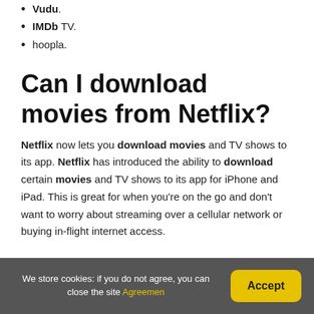Vudu.
IMDb TV.
hoopla.
Can I download movies from Netflix?
Netflix now lets you download movies and TV shows to its app. Netflix has introduced the ability to download certain movies and TV shows to its app for iPhone and iPad. This is great for when you're on the go and don't want to worry about streaming over a cellular network or buying in-flight internet access.
We store cookies: if you do not agree, you can close the site Agreement